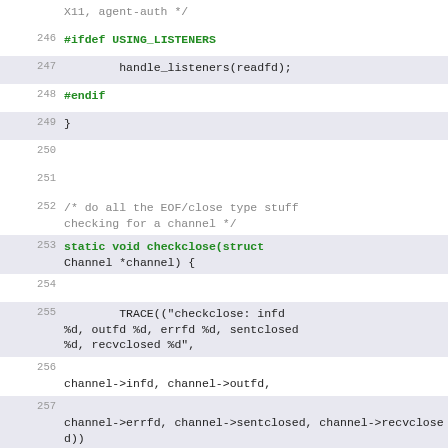[Figure (screenshot): Source code listing showing C code lines 246-262, with syntax highlighting. Lines shown include #ifdef USING_LISTENERS, handle_listeners(readfd), #endif, closing brace, comment about EOF/close checking, static void checkclose function definition, TRACE macro calls with channel field accesses, and channel->writebuf related expressions.]